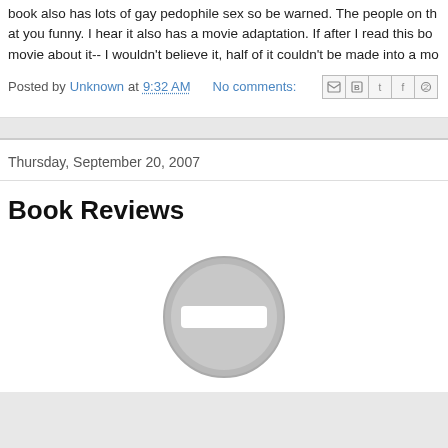book also has lots of gay pedophile sex so be warned. The people on the at you funny. I hear it also has a movie adaptation. If after I read this boo movie about it-- I wouldn't believe it, half of it couldn't be made into a mo
Posted by Unknown at 9:32 AM   No comments:
Thursday, September 20, 2007
Book Reviews
[Figure (illustration): A grey circle with a white minus/dash rectangle in the center, resembling a 'no' or remove icon button.]